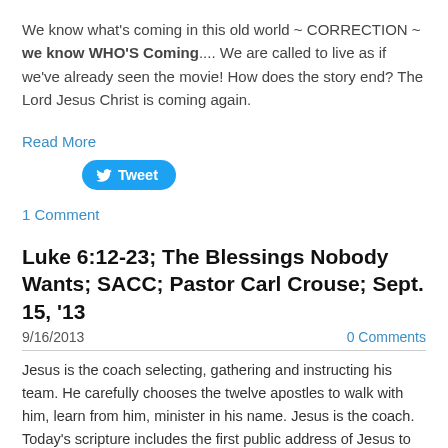We know what's coming in this old world ~ CORRECTION ~ we know WHO'S Coming.... We are called to live as if we've already seen the movie!  How does the story end?  The Lord Jesus Christ is coming again.
Read More
[Figure (other): Tweet button with Twitter bird icon]
1 Comment
Luke 6:12-23; The Blessings Nobody Wants; SACC; Pastor Carl Crouse; Sept. 15, '13
9/16/2013      0 Comments
Jesus is the coach selecting, gathering and instructing his team.  He carefully chooses the twelve apostles to walk with him, learn from him, minister in his name.  Jesus is the coach.  Today's scripture includes the first public address of Jesus to his disciples ~ not only the twelve, but a large crowd of disciples gathers.  Think of them as players on